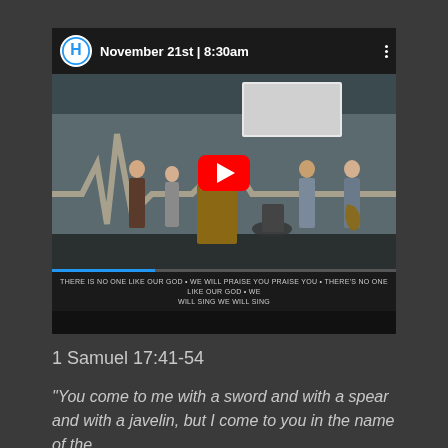[Figure (screenshot): YouTube video thumbnail showing a church worship band on stage. The video is titled 'November 21st | 8:30am' with a church channel icon (blue H logo). A large red YouTube play button is centered on the video. The stage shows several musicians including a guitarist, drummer, and others. A heartbeat/EKG line decoration is visible on the wall behind them. Subtitle text reads: 'THERE IS NO ONE LIKE OUR GOD • WE WILL PRAISE YOU PRAISE YOU • THERE'S NO ONE LIKE OUR GOD • WE WILL SING WE WILL SING']
1 Samuel 17:41-54
“You come to me with a sword and with a spear and with a javelin, but I come to you in the name of the